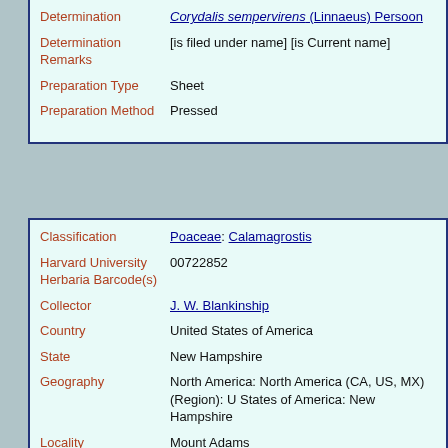| Field | Value |
| --- | --- |
| Determination | Corydalis sempervirens (Linnaeus) Persoon |
| Determination Remarks | [is filed under name] [is Current name] |
| Preparation Type | Sheet |
| Preparation Method | Pressed |
| Field | Value |
| --- | --- |
| Classification | Poaceae: Calamagrostis |
| Harvard University Herbaria Barcode(s) | 00722852 |
| Collector | J. W. Blankinship |
| Country | United States of America |
| State | New Hampshire |
| Geography | North America: North America (CA, US, MX) (Region): United States of America: New Hampshire |
| Locality | Mount Adams |
| Date | 1894-08-30 [Aug. 30, 1894] |